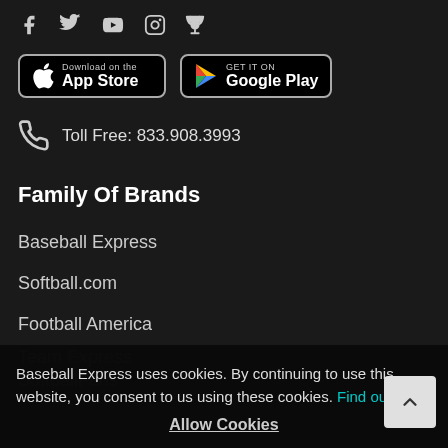[Figure (infographic): Social media icons row: Facebook, Twitter, YouTube, Instagram, Trophy/achievement icon]
[Figure (infographic): App Store download button (black, rounded rectangle with Apple logo)]
[Figure (infographic): Google Play download button (black, rounded rectangle with Play logo)]
Toll Free: 833.908.3993
Family Of Brands
Baseball Express
Softball.com
Football America
Team Express (partial)
Softball Fans (partial)
Baseball Express uses cookies. By continuing to use this website, you consent to us using these cookies. Find out more
Allow Cookies